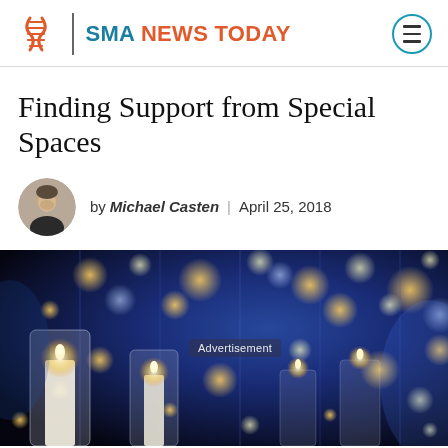SMA NEWS TODAY
Finding Support from Special Spaces
by Michael Casten | April 25, 2018
[Figure (photo): Close-up photo of lit candles in glass holders with bokeh string lights in blue and gold tones in the background. An 'Advertisement' overlay label appears in the center of the image.]